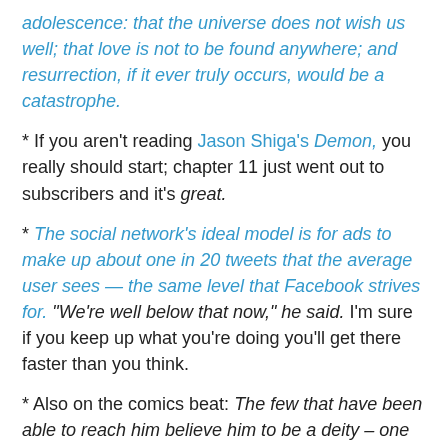adolescence: that the universe does not wish us well; that love is not to be found anywhere; and resurrection, if it ever truly occurs, would be a catastrophe.
* If you aren't reading Jason Shiga's Demon, you really should start; chapter 11 just went out to subscribers and it's great.
* The social network's ideal model is for ads to make up about one in 20 tweets that the average user sees — the same level that Facebook strives for. "We're well below that now," he said. I'm sure if you keep up what you're doing you'll get there faster than you think.
* Also on the comics beat: The few that have been able to reach him believe him to be a deity – one who turned the scorched desert into a lush oasis. They say he can bend